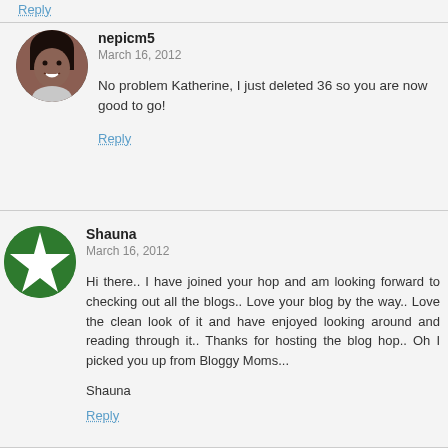Reply
nepicm5
March 16, 2012
No problem Katherine, I just deleted 36 so you are now good to go!
Reply
Shauna
March 16, 2012
Hi there.. I have joined your hop and am looking forward to checking out all the blogs.. Love your blog by the way.. Love the clean look of it and have enjoyed looking around and reading through it.. Thanks for hosting the blog hop.. Oh I picked you up from Bloggy Moms...

Shauna
Reply